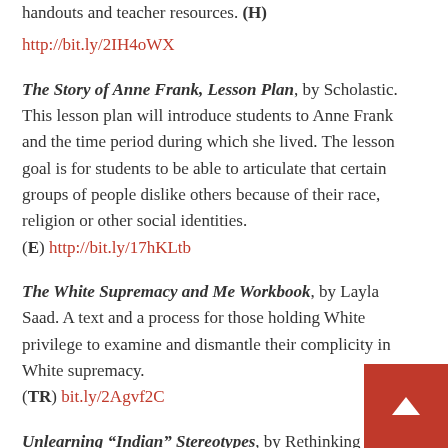handouts and teacher resources. (H)
http://bit.ly/2IH4oWX
The Story of Anne Frank, Lesson Plan, by Scholastic. This lesson plan will introduce students to Anne Frank and the time period during which she lived. The lesson goal is for students to be able to articulate that certain groups of people dislike others because of their race, religion or other social identities. (E) http://bit.ly/17hKLtb
The White Supremacy and Me Workbook, by Layla Saad. A text and a process for those holding White privilege to examine and dismantle their complicity in White supremacy. (TR) bit.ly/2Agvf2C
Unlearning “Indian” Stereotypes, by Rethinking Schools. Narrated by Native American children, this DVD teaches about
[Figure (other): Red scroll-to-top button with white upward-pointing arrow chevron, positioned at bottom-right corner of page]